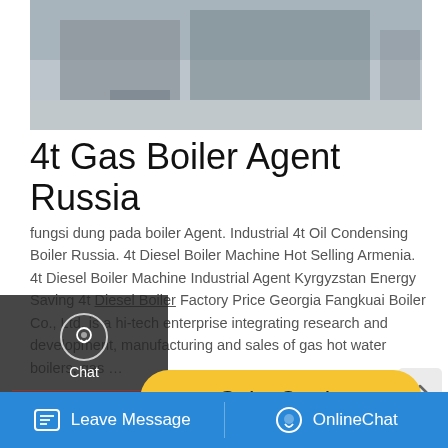[Figure (photo): Industrial boiler equipment photographed outdoors, showing large metal machinery and workers in a yard setting]
4t Gas Boiler Agent Russia
fungsi dung pada boiler Agent. Industrial 4t Oil Condensing Boiler Russia. 4t Diesel Boiler Machine Hot Selling Armenia. 4t Diesel Boiler Machine Industrial Agent Kyrgyzstan Energy Saving 4t Diesel Boiler Factory Price Georgia Fangkuai Boiler Co., Ltd. is a hi-tech enterprise integrating research and development, manufacturing and sales of gas hot water boilers, gas …
[Figure (screenshot): Left sidebar overlay showing Chat, Email, and Contact options with icons on dark background]
[Figure (screenshot): Get a Quote button in yellow/gold rounded rectangle]
[Figure (screenshot): Save Stickers on WhatsApp banner in purple/pink gradient with WhatsApp and emoji icons]
[Figure (screenshot): Bottom navigation bar in blue with Leave Message and OnlineChat options]